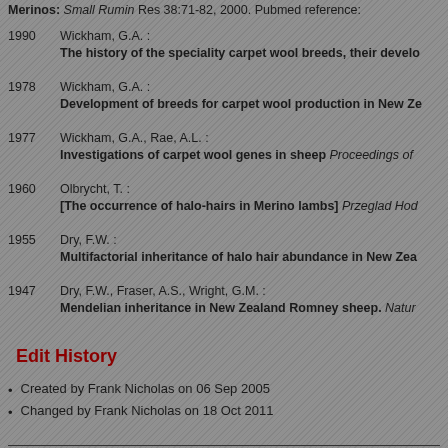Merinos: Small Rumin Res 38:71-82, 2000. Pubmed reference:
1990 Wickham, G.A. : The history of the speciality carpet wool breeds, their develo…
1978 Wickham, G.A. : Development of breeds for carpet wool production in New Ze…
1977 Wickham, G.A., Rae, A.L. : Investigations of carpet wool genes in sheep Proceedings of…
1960 Olbrycht, T. : [The occurrence of halo-hairs in Merino lambs] Przeglad Hod…
1955 Dry, F.W. : Multifactorial inheritance of halo hair abundance in New Zea…
1947 Dry, F.W., Fraser, A.S., Wright, G.M. : Mendelian inheritance in New Zealand Romney sheep. Natur…
Edit History
Created by Frank Nicholas on 06 Sep 2005
Changed by Frank Nicholas on 18 Oct 2011